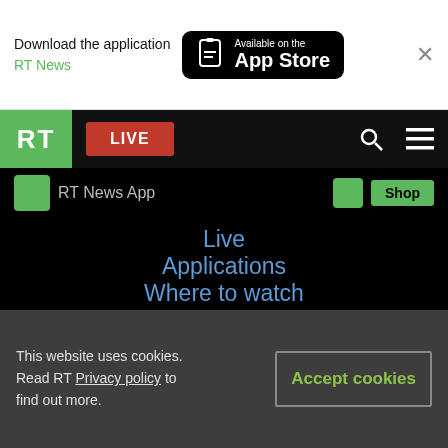Download the application RT News
[Figure (logo): Available on the App Store button (black rounded rectangle with phone icon)]
[Figure (logo): RT logo - white RT letters on green background]
LIVE
RT News App
Shop
Live
Applications
Where to watch
Schedule
Sponsored content
This website uses cookies. Read RT Privacy policy to find out more.
Accept cookies